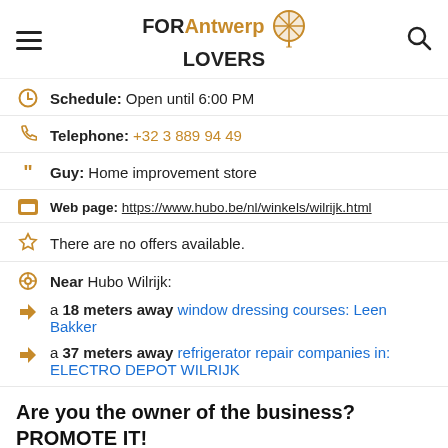FOR Antwerp LOVERS
Schedule: Open until 6:00 PM
Telephone: +32 3 889 94 49
Guy: Home improvement store
Web page: https://www.hubo.be/nl/winkels/wilrijk.html
There are no offers available.
Near Hubo Wilrijk:
a 18 meters away window dressing courses: Leen Bakker
a 37 meters away refrigerator repair companies in: ELECTRO DEPOT WILRIJK
Are you the owner of the business? PROMOTE IT!